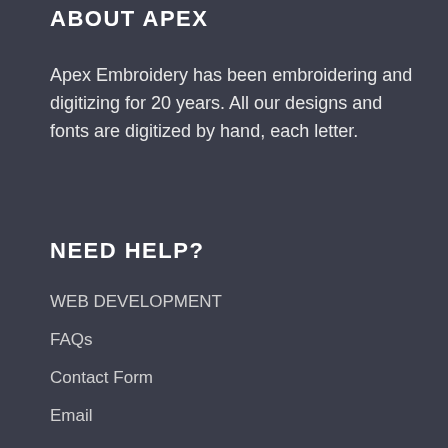ABOUT APEX
Apex Embroidery has been embroidering and digitizing for 20 years. All our designs and fonts are digitized by hand, each letter.
NEED HELP?
WEB DEVELOPMENT
FAQs
Contact Form
Email
LEGAL
Privacy Policy